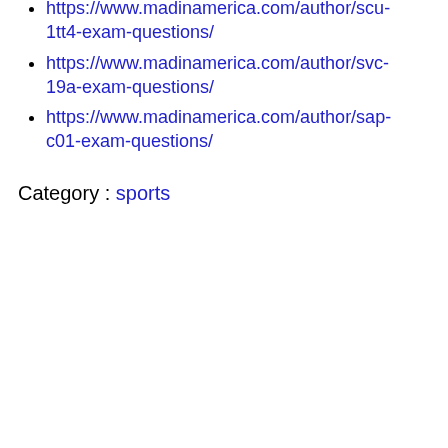https://www.madinamerica.com/author/scu-1tt4-exam-questions/
https://www.madinamerica.com/author/svc-19a-exam-questions/
https://www.madinamerica.com/author/sap-c01-exam-questions/
Category : sports